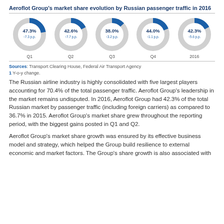[Figure (donut-chart): Aeroflot Group's market share evolution by Russian passenger traffic in 2016]
Sources: Transport Clearing House, Federal Air Transport Agency
1 Y-o-y change.
The Russian airline industry is highly consolidated with five largest players accounting for 70.4% of the total passenger traffic. Aeroflot Group's leadership in the market remains undisputed. In 2016, Aeroflot Group had 42.3% of the total Russian market by passenger traffic (including foreign carriers) as compared to 36.7% in 2015. Aeroflot Group's market share grew throughout the reporting period, with the biggest gains posted in Q1 and Q2.
Aeroflot Group's market share growth was ensured by its effective business model and strategy, which helped the Group build resilience to external economic and market factors. The Group's share growth is also associated with